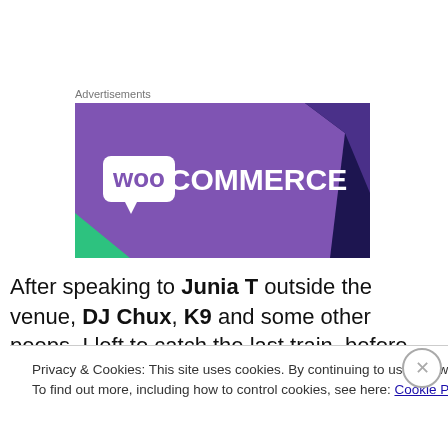Advertisements
[Figure (logo): WooCommerce advertisement banner with purple background and white WooCommerce logo]
After speaking to Junia T outside the venue, DJ Chux, K9 and some other peeps, I left to catch the last train, before the night bus journey would ensue.
Privacy & Cookies: This site uses cookies. By continuing to use this website, you agree to their use.
To find out more, including how to control cookies, see here: Cookie Policy